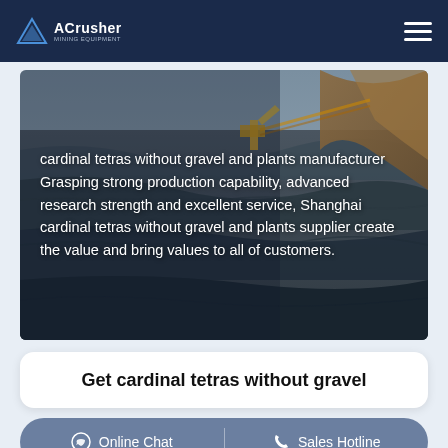ACrusher MINING EQUIPMENT
[Figure (photo): Aerial view of a mining quarry with excavator machinery, rocky terrain in blue-grey tones with brown rock face in background]
cardinal tetras without gravel and plants manufacturer Grasping strong production capability, advanced research strength and excellent service, Shanghai cardinal tetras without gravel and plants supplier create the value and bring values to all of customers.
Get cardinal tetras without gravel
Online Chat   Sales Hotline